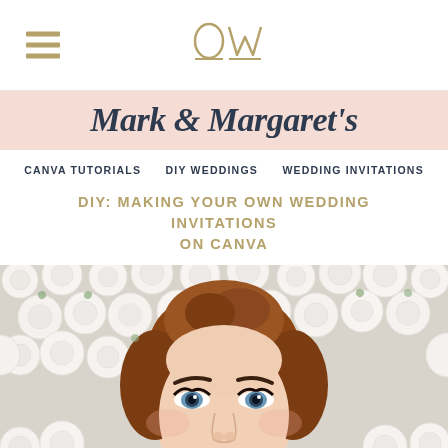OW (logo) with hamburger menu
[Figure (logo): OW monogram logo in gold/tan color with decorative underline, centered in header]
Mark & Margaret's
CANVA TUTORIALS   DIY WEDDINGS   WEDDING INVITATIONS
DIY: MAKING YOUR OWN WEDDING INVITATIONS ON CANVA
[Figure (photo): Bride with auburn updo hair, blue eyes, dramatic makeup with red lips, lying against a white rose flower wall background]